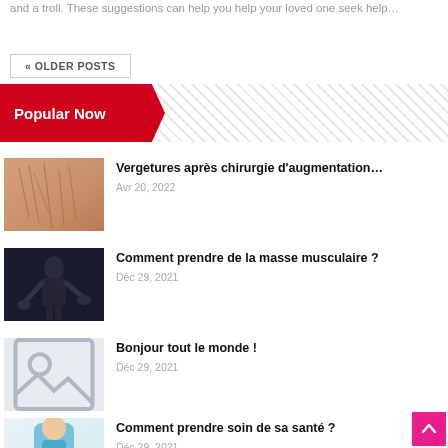and a troll. These suggestions can help you help your loved one seek help…
« OLDER POSTS
Popular Now
[Figure (photo): Close-up photo of skin with stretch marks]
Vergetures après chirurgie d'augmentation…
Avr 20, 2022
[Figure (photo): Dark background photo of a muscular person holding weights]
Comment prendre de la masse musculaire ?
Déc 29, 2021
[Figure (illustration): Light grey placeholder image with a photo icon]
Bonjour tout le monde !
Déc 29, 2021
[Figure (photo): Photo of a woman in blue medical coat gesturing with hands]
Comment prendre soin de sa santé ?
Déc 29, 2021